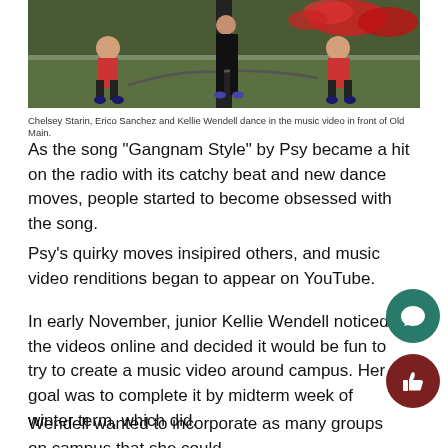[Figure (photo): Three people dancing in front of Old Main, with chains visible and red flowers in background]
Chelsey Starin, Erico Sanchez and Kellie Wendell dance in the music video in front of Old Main.
As the song “Gangnam Style” by Psy became a hit on the radio with its catchy beat and new dance moves, people started to become obsessed with the song.
Psy’s quirky moves insipired others, and music video renditions began to appear on YouTube.
In early November, junior Kellie Wendell noticed the videos online and decided it would be fun to try to create a music video around campus. Her goal was to complete it by midterm week of winter term, which did.
Wendell wanted to incorporate as many groups on campus that she could.